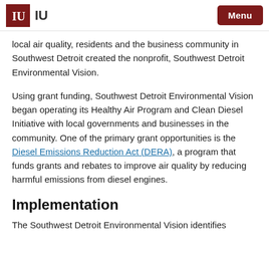IU | Menu
local air quality, residents and the business community in Southwest Detroit created the nonprofit, Southwest Detroit Environmental Vision.
Using grant funding, Southwest Detroit Environmental Vision began operating its Healthy Air Program and Clean Diesel Initiative with local governments and businesses in the community. One of the primary grant opportunities is the Diesel Emissions Reduction Act (DERA), a program that funds grants and rebates to improve air quality by reducing harmful emissions from diesel engines.
Implementation
The Southwest Detroit Environmental Vision identifies